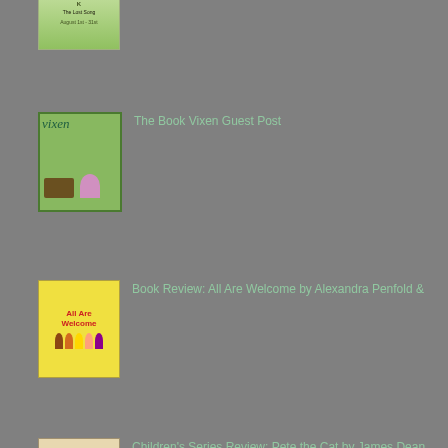[Figure (illustration): Partially visible book club thumbnail at top of page, green book cover with text 'August 1st - 31st']
[Figure (illustration): The Book Vixen blog logo/illustration showing a woman reading with books]
The Book Vixen Guest Post
[Figure (illustration): Book cover: All Are Welcome by Alexandra Penfold, showing diverse children]
Book Review: All Are Welcome by Alexandra Penfold &
[Figure (illustration): Children's Book Review badge/logo with gold seal]
Children's Series Review: Pete the Cat by James Dean
[Figure (illustration): Collage of book covers for The Left Behind series, dark covers]
Book Review: The Left Behind series by Tim LaHaye an